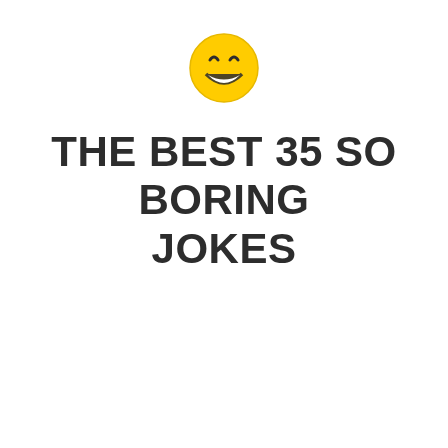[Figure (illustration): A yellow smiley face emoji with beaming smile and closed happy eyes, centered at the top of the page.]
THE BEST 35 SO BORING JOKES